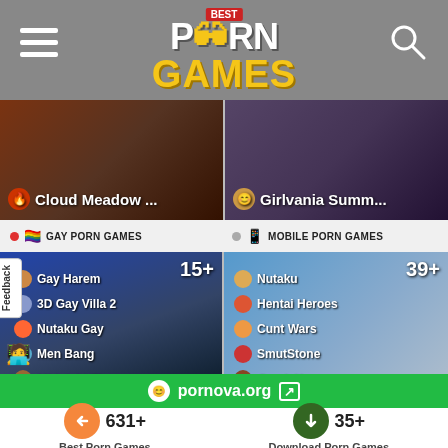Best Porn Games
[Figure (screenshot): Cloud Meadow game thumbnail]
[Figure (screenshot): Girlvania Summer game thumbnail]
GAY PORN GAMES
MOBILE PORN GAMES
[Figure (screenshot): Gay porn games panel showing Gay Harem, 3D Gay Villa 2, Nutaku Gay, Men Bang, Midnight Fireworks. Count: 15+]
[Figure (screenshot): Mobile porn games panel showing Nutaku, Hentai Heroes, Cunt Wars, SmutStone, ComixHarem. Count: 39+]
pornova.org
631+
Best Porn Games
35+
Download Porn Games